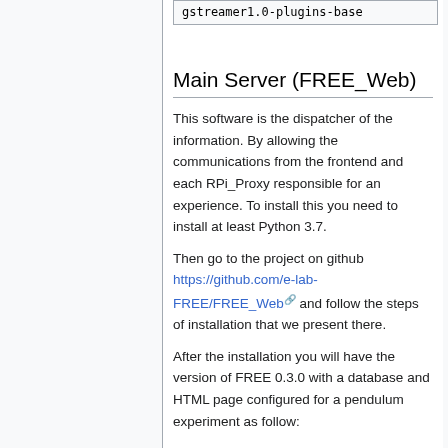gstreamer1.0-plugins-base
Main Server (FREE_Web)
This software is the dispatcher of the information. By allowing the communications from the frontend and each RPi_Proxy responsible for an experience. To install this you need to install at least Python 3.7.
Then go to the project on github https://github.com/e-lab-FREE/FREE_Web and follow the steps of installation that we present there.
After the installation you will have the version of FREE 0.3.0 with a database and HTML page configured for a pendulum experiment as follow: